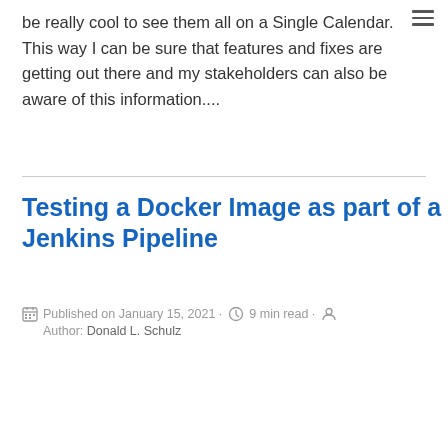be really cool to see them all on a Single Calendar. This way I can be sure that features and fixes are getting out there and my stakeholders can also be aware of this information....
Testing a Docker Image as part of a Jenkins Pipeline
Published on January 15, 2021 · 9 min read · Author: Donald L. Schulz